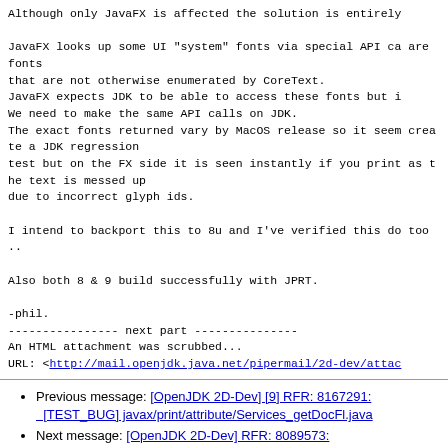Although only JavaFX is affected the solution is entirely

JavaFX looks up some UI "system" fonts via special API ca are fonts
that are not otherwise enumerated by CoreText.
JavaFX expects JDK to be able to access these fonts but i
We need to make the same API calls on JDK.
The exact fonts returned vary by MacOS release so it seem create a JDK regression
test but on the FX side it is seen instantly if you print as the text is messed up
due to incorrect glyph ids.

I intend to backport this to 8u and I've verified this do too ..

Also both 8 & 9 build successfully with JPRT.

-phil.
---------------- next part ---------------
An HTML attachment was scrubbed...
URL: <http://mail.openjdk.java.net/pipermail/2d-dev/attac
Previous message: [OpenJDK 2D-Dev] [9] RFR: 8167291: [TEST_BUG] javax/print/attribute/Services_getDocFl.java
Next message: [OpenJDK 2D-Dev] RFR: 8089573: [macosx] Incorrect char to glyph mapping printing on OSX 10.10...